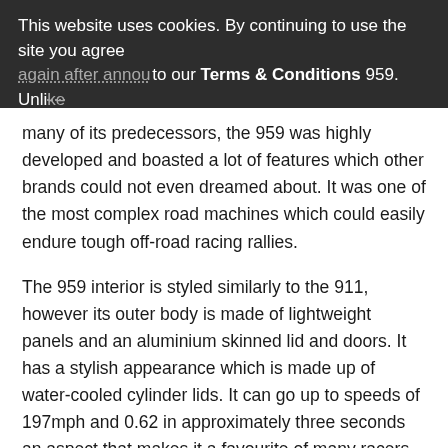This website uses cookies. By continuing to use the site you agree to our Terms & Conditions
again after announcing the 959. Unlike many of its predecessors, the 959 was highly developed and boasted a lot of features which other brands could not even dreamed about. It was one of the most complex road machines which could easily endure tough off-road racing rallies.
The 959 interior is styled similarly to the 911, however its outer body is made of lightweight panels and an aluminium skinned lid and doors. It has a stylish appearance which is made up of water-cooled cylinder lids. It can go up to speeds of 197mph and 0.62 in approximately three seconds an aspect that makes it a favourite of many racers. It prides itself over a 444 horsepower and is the first Porsche to have tire pressure sensors along with magnesium wheel. Up to date, there are very few cars which can beat this cars speed, and it is among the best Porsche's ever made.